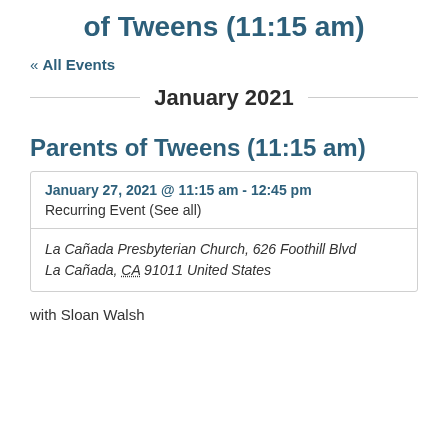of Tweens (11:15 am)
« All Events
January 2021
Parents of Tweens (11:15 am)
| January 27, 2021 @ 11:15 am - 12:45 pm | Recurring Event (See all) |
| La Cañada Presbyterian Church, 626 Foothill Blvd La Cañada, CA 91011 United States |  |
with Sloan Walsh